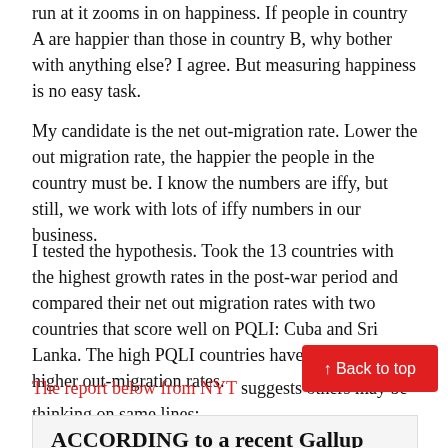run at it zooms in on happiness. If people in country A are happier than those in country B, why bother with anything else? I agree. But measuring happiness is no easy task.
My candidate is the net out-migration rate. Lower the out migration rate, the happier the people in the country must be. I know the numbers are iffy, but still, we work with lots of iffy numbers in our business.
I tested the hypothesis. Took the 13 countries with the highest growth rates in the post-war period and compared their net out migration rates with two countries that score well on PQLI: Cuba and Sri Lanka. The high PQLI countries have significantly higher out-migration rates.
The report below from NYT suggests others may be thinking on same lines:
ACCORDING to a recent Gallup World
↑ Back to top